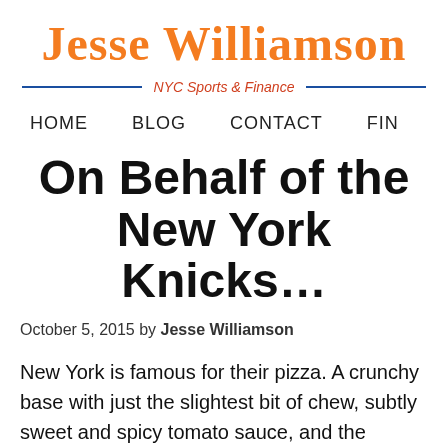Jesse Williamson — NYC Sports & Finance
HOME   BLOG   CONTACT   FIN
On Behalf of the New York Knicks…
October 5, 2015 by Jesse Williamson
New York is famous for their pizza. A crunchy base with just the slightest bit of chew, subtly sweet and spicy tomato sauce, and the perfect layer of gooey, cheesy